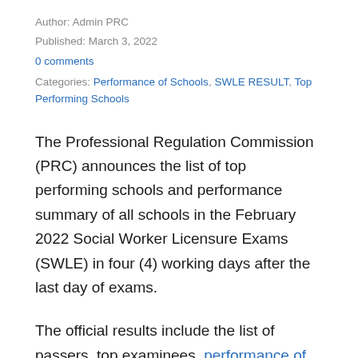Author: Admin PRC
Published: March 3, 2022
0 comments
Categories: Performance of Schools, SWLE RESULT, Top Performing Schools
The Professional Regulation Commission (PRC) announces the list of top performing schools and performance summary of all schools in the February 2022 Social Worker Licensure Exams (SWLE) in four (4) working days after the last day of exams.
The official results include the list of passers, top examinees, performance of schools, oath-taking schedule, registration requirements, among other important announcements.